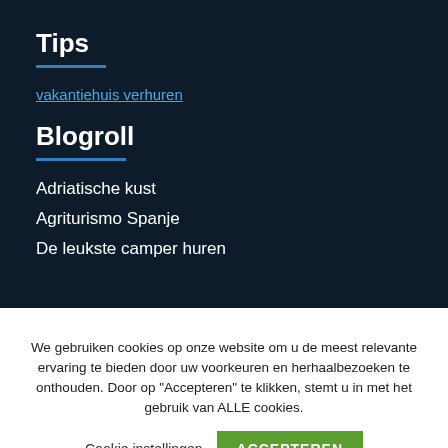Tips
vakantiehuis verhuren
Blogroll
Adriatische kust
Agriturismo Spanje
De leukste camper huren
We gebruiken cookies op onze website om u de meest relevante ervaring te bieden door uw voorkeuren en herhaalbezoeken te onthouden. Door op "Accepteren" te klikken, stemt u in met het gebruik van ALLE cookies.
Cookie instellingen  ACCEPTEREN